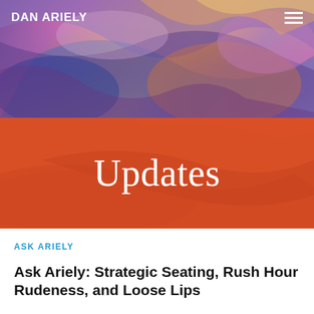DAN ARIELY
[Figure (photo): Colorful abstract painting background used as hero banner image, with purples, oranges, blues, and pinks]
Updates
ASK ARIELY
Ask Ariely: Strategic Seating, Rush Hour Rudeness, and Loose Lips